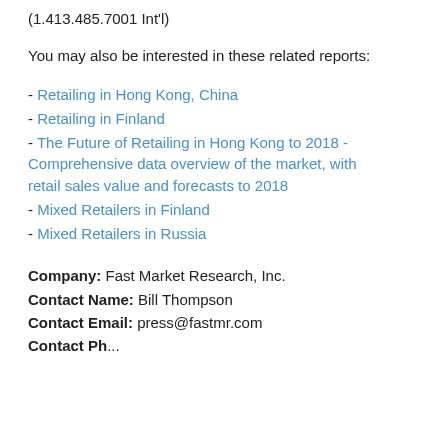(1.413.485.7001 Int'l)
You may also be interested in these related reports:
- Retailing in Hong Kong, China
- Retailing in Finland
- The Future of Retailing in Hong Kong to 2018 - Comprehensive data overview of the market, with retail sales value and forecasts to 2018
- Mixed Retailers in Finland
- Mixed Retailers in Russia
Company: Fast Market Research, Inc.
Contact Name: Bill Thompson
Contact Email: press@fastmr.com
Contact Ph...